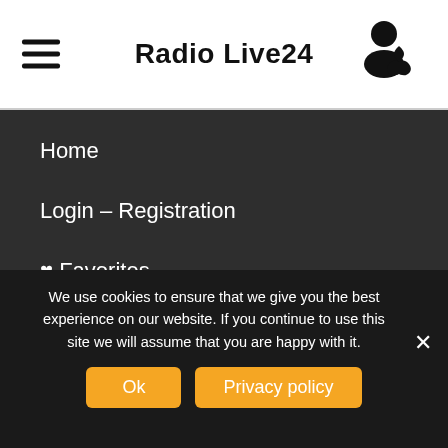Radio Live24
Home
Login – Registration
♥ Favorites
Search Radios
Contact
Privacy Policy & Terms of Use
We use cookies to ensure that we give you the best experience on our website. If you continue to use this site we will assume that you are happy with it.
Ok  Privacy policy